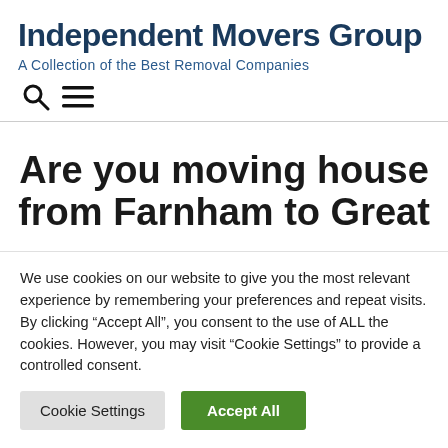Independent Movers Group
A Collection of the Best Removal Companies
[Figure (other): Search icon (magnifying glass) and hamburger menu icon]
Are you moving house from Farnham to Great
We use cookies on our website to give you the most relevant experience by remembering your preferences and repeat visits. By clicking “Accept All”, you consent to the use of ALL the cookies. However, you may visit “Cookie Settings” to provide a controlled consent.
Cookie Settings | Accept All